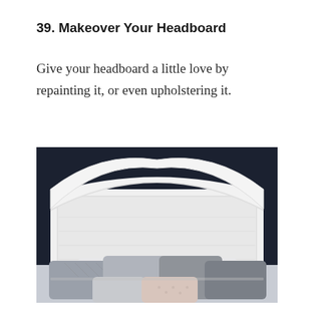39. Makeover Your Headboard
Give your headboard a little love by repainting it, or even upholstering it.
[Figure (photo): A white painted wooden headboard with an arched top, set against a dark navy/black wall, with several grey, light grey, and blush pink pillows arranged in front on a bed.]